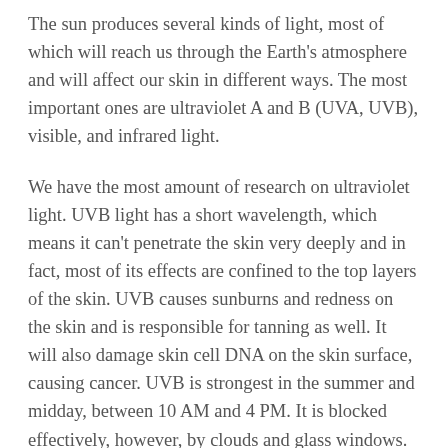The sun produces several kinds of light, most of which will reach us through the Earth's atmosphere and will affect our skin in different ways. The most important ones are ultraviolet A and B (UVA, UVB), visible, and infrared light.
We have the most amount of research on ultraviolet light. UVB light has a short wavelength, which means it can't penetrate the skin very deeply and in fact, most of its effects are confined to the top layers of the skin. UVB causes sunburns and redness on the skin and is responsible for tanning as well. It will also damage skin cell DNA on the skin surface, causing cancer. UVB is strongest in the summer and midday, between 10 AM and 4 PM. It is blocked effectively, however, by clouds and glass windows.